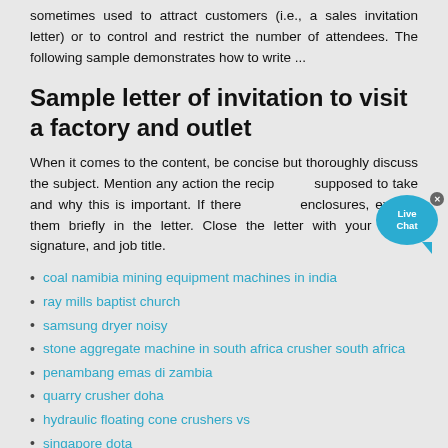sometimes used to attract customers (i.e., a sales invitation letter) or to control and restrict the number of attendees. The following sample demonstrates how to write ...
Sample letter of invitation to visit a factory and outlet
When it comes to the content, be concise but thoroughly discuss the subject. Mention any action the recipient is supposed to take and why this is important. If there are any enclosures, explain them briefly in the letter. Close the letter with your name, signature, and job title.
coal namibia mining equipment machines in india
ray mills baptist church
samsung dryer noisy
stone aggregate machine in south africa crusher south africa
penambang emas di zambia
quarry crusher doha
hydraulic floating cone crushers vs
singapore dota
sand blasting and painting equipments
ground case? plant manufacturer stone crusher machine